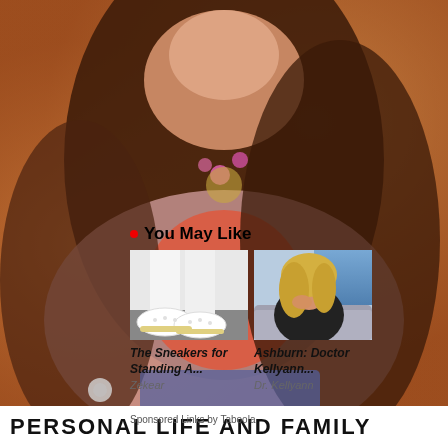[Figure (photo): Woman with long brown hair wearing pink cardigan and orange top, smiling, with warm orange bokeh background]
You May Like
[Figure (photo): White sneakers/shoes on feet with white pants]
[Figure (photo): Blonde woman in black top sitting on couch, posing]
The Sneakers for Standing A...
Ashburn: Doctor Kellyann...
Zekear
Dr. Kellyann
Sponsored Links by Taboola
PERSONAL LIFE AND FAMILY